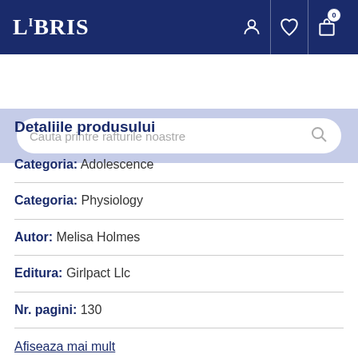LIBRIS
Detaliile produsului
Categoria: Adolescence
Categoria: Physiology
Autor: Melisa Holmes
Editura: Girlpact Llc
Nr. pagini: 130
Afiseaza mai mult